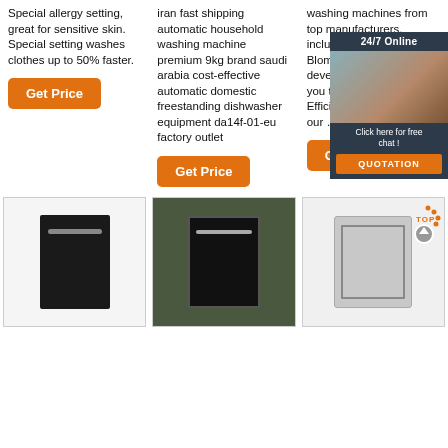Special allergy setting, great for sensitive skin. Special setting washes clothes up to 50% faster.
Get Price
iran fast shipping automatic household washing machine premium 9kg brand saudi arabia cost-effective automatic domestic freestanding dishwasher equipment da14f-01-eu factory outlet
Get Price
washing machines from top manufacturers, including Zanussi, Blomberg and Bosch, w... develop ... applianc... you time ... money. E... Efficient ... Machines... our ...
Get Pr...
[Figure (photo): Chat popup with woman wearing headset, showing '24/7 Online', 'Click here for free chat!', and 'QUOTATION' button]
[Figure (photo): Black dishwasher panel front view]
[Figure (photo): Black dishwasher in warehouse/factory setting]
[Figure (photo): Silver freestanding dishwasher with TOP arrow decoration]